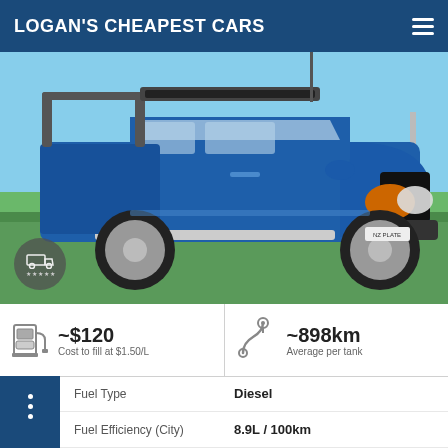LOGAN'S CHEAPEST CARS
[Figure (photo): Blue Mazda BT-50 dual-cab ute with roof rack and light bar, parked on grass with blue sky background. Has a truck/ute rating badge with 5 stars in bottom left corner.]
~$120
Cost to fill at $1.50/L
~898km
Average per tank
|  |  |
| --- | --- |
| Fuel Type | Diesel |
| Fuel Efficiency (City) | 8.9L / 100km |
| Transmission | Manual |